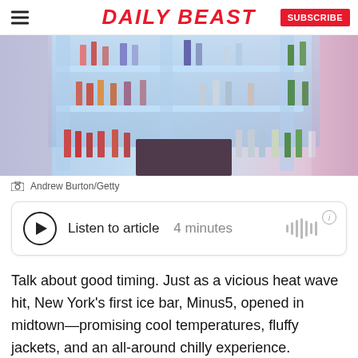DAILY BEAST
[Figure (photo): Interior of an ice bar with shelves of liquor bottles made of ice, illuminated with blue and pink lighting.]
Andrew Burton/Getty
Listen to article  4 minutes
Talk about good timing. Just as a vicious heat wave hit, New York's first ice bar, Minus5, opened in midtown—promising cool temperatures, fluffy jackets, and an all-around chilly experience.